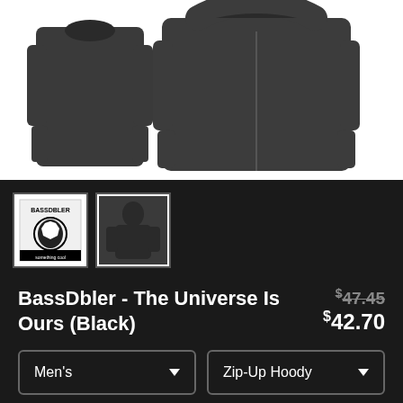[Figure (photo): Product photo of a dark grey zip-up hoodie shown from front and back angles on white background]
[Figure (photo): Two thumbnail images: one showing BassDbler logo, one showing the hoodie worn by a model]
BassDbler - The Universe Is Ours (Black)
$47.45 (strikethrough) $42.70
Men's (dropdown) | Zip-Up Hoody (dropdown)
SELECT YOUR FIT